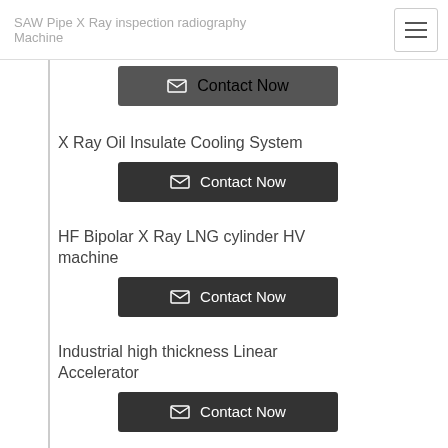SAW Pipe X Ray inspection radiography Machine
X Ray Oil Insulate Cooling System
HF Bipolar X Ray LNG cylinder HV machine
Industrial high thickness Linear Accelerator
X Ray Linear Electron Accelerator
7.5MEV X Ray Cyclotron Dual energy